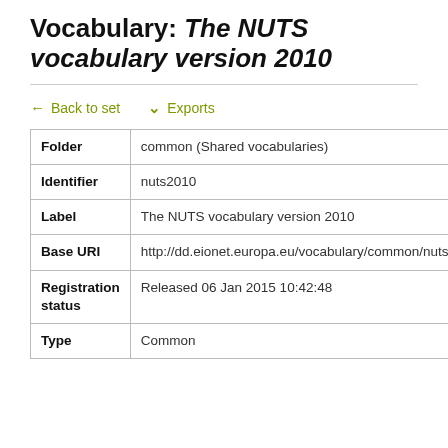Vocabulary: The NUTS vocabulary version 2010
← Back to set   ⌄ Exports
| Field | Value |
| --- | --- |
| Folder | common (Shared vocabularies) |
| Identifier | nuts2010 |
| Label | The NUTS vocabulary version 2010 |
| Base URI | http://dd.eionet.europa.eu/vocabulary/common/nuts/ |
| Registration status | Released 06 Jan 2015 10:42:48 |
| Type | Common |